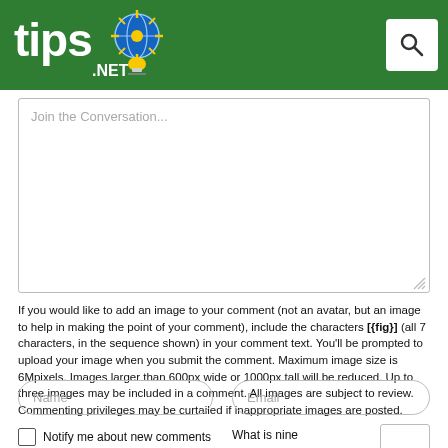[Figure (logo): tips.NET logo — white bold 'tips' text with a globe/lightbulb icon and yellow sunburst on green header background]
[Figure (screenshot): Search button icon (magnifying glass) on white rounded rectangle in upper right of green header]
[Figure (screenshot): Comment text area input box with placeholder text 'Join the Conversation...' and resize handle in bottom-right corner]
If you would like to add an image to your comment (not an avatar, but an image to help in making the point of your comment), include the characters [{fig}] (all 7 characters, in the sequence shown) in your comment text. You'll be prompted to upload your image when you submit the comment. Maximum image size is 6Mpixels. Images larger than 600px wide or 1000px tall will be reduced. Up to three images may be included in a comment. All images are subject to review. Commenting privileges may be curtailed if inappropriate images are posted.
[Figure (screenshot): Name input field with rounded border and placeholder 'Name']
[Figure (screenshot): Email input field with rounded border and placeholder 'Email']
Notify me about new comments
What is nine